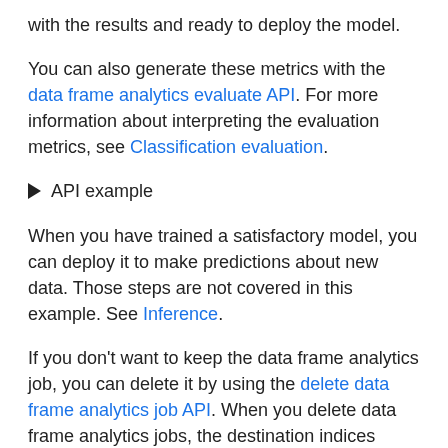with the results and ready to deploy the model.
You can also generate these metrics with the data frame analytics evaluate API. For more information about interpreting the evaluation metrics, see Classification evaluation.
▶ API example
When you have trained a satisfactory model, you can deploy it to make predictions about new data. Those steps are not covered in this example. See Inference.
If you don't want to keep the data frame analytics job, you can delete it by using the delete data frame analytics job API. When you delete data frame analytics jobs, the destination indices remain intact.